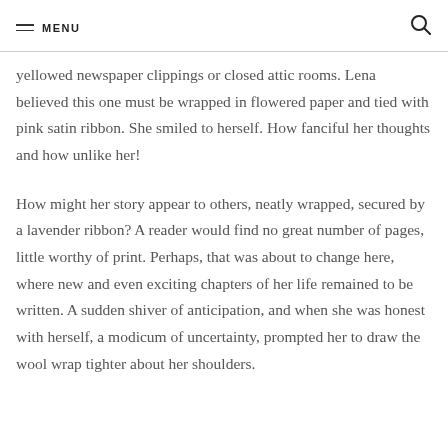MENU
yellowed newspaper clippings or closed attic rooms. Lena believed this one must be wrapped in flowered paper and tied with pink satin ribbon. She smiled to herself. How fanciful her thoughts and how unlike her!
How might her story appear to others, neatly wrapped, secured by a lavender ribbon? A reader would find no great number of pages, little worthy of print. Perhaps, that was about to change here, where new and even exciting chapters of her life remained to be written. A sudden shiver of anticipation, and when she was honest with herself, a modicum of uncertainty, prompted her to draw the wool wrap tighter about her shoulders.